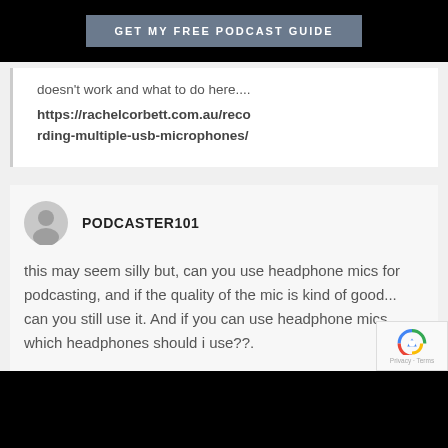GET MY FREE PODCAST GUIDE
doesn't work and what to do here....
https://rachelcorbett.com.au/recording-multiple-usb-microphones/
PODCASTER101
this may seem silly but, can you use headphone mics for podcasting, and if the quality of the mic is kind of good... can you still use it. And if you can use headphone mics, which headphones should i use??.